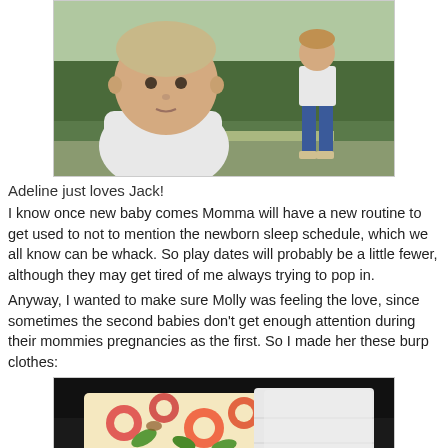[Figure (photo): Photo of two children outdoors — a baby/toddler in a white shirt in the foreground and an older child standing in the background near a hedge]
Adeline just loves Jack!
I know once new baby comes Momma will have a new routine to get used to not to mention the newborn sleep schedule, which we all know can be whack. So play dates will probably be a little fewer, although they may get tired of me always trying to pop in.
Anyway, I wanted to make sure Molly was feeling the love, since sometimes the second babies don't get enough attention during their mommies pregnancies as the first. So I made her these burp clothes:
[Figure (photo): Photo of handmade burp cloths — one with a colorful floral/bird print fabric and one plain white, displayed on a dark background]